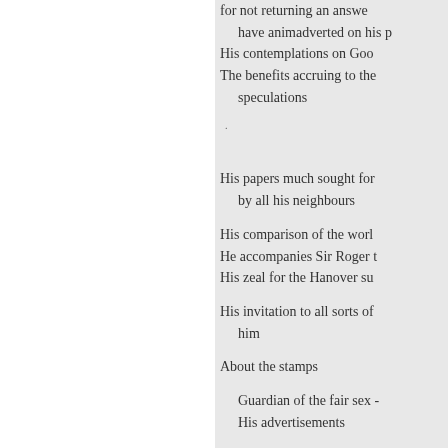for not returning an answer
have animadverted on his p
His contemplations on Goo
The benefits accruing to the speculations
His papers much sought for by all his neighbours
His comparison of the worl
He accompanies Sir Roger t
His zeal for the Hanover su
His invitation to all sorts of him
About the stamps
Guardian of the fair sex -
His advertisements
About the price of his paper